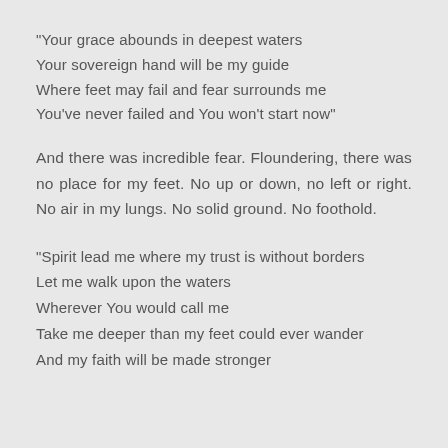“Your grace abounds in deepest waters
Your sovereign hand will be my guide
Where feet may fail and fear surrounds me
You’ve never failed and You won’t start now”
And there was incredible fear. Floundering, there was no place for my feet. No up or down, no left or right. No air in my lungs. No solid ground. No foothold.
“Spirit lead me where my trust is without borders
Let me walk upon the waters
Wherever You would call me
Take me deeper than my feet could ever wander
And my faith will be made stronger